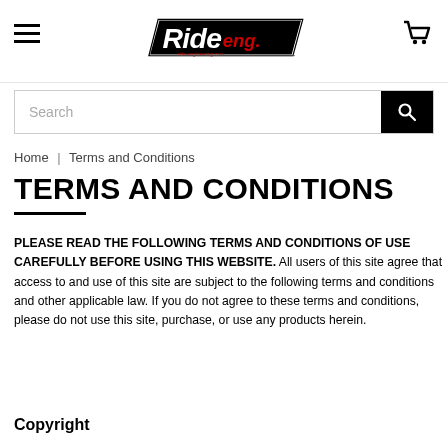Ride Engineering logo, navigation menu, cart icon
Search
Home | Terms and Conditions
TERMS AND CONDITIONS
PLEASE READ THE FOLLOWING TERMS AND CONDITIONS OF USE CAREFULLY BEFORE USING THIS WEBSITE. All users of this site agree that access to and use of this site are subject to the following terms and conditions and other applicable law. If you do not agree to these terms and conditions, please do not use this site, purchase, or use any products herein.
Copyright